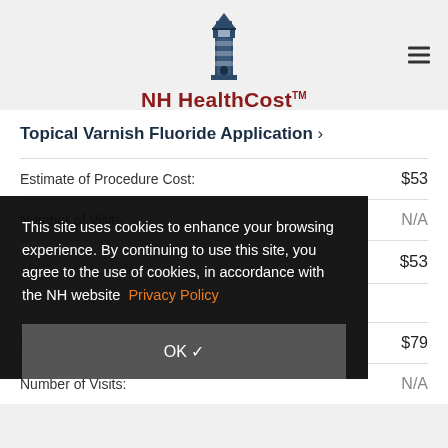NH HealthCost
Topical Varnish Fluoride Application >
| Label | Value |
| --- | --- |
| Estimate of Procedure Cost: | $53 |
| Number of Visits: | N/A |
| What You Will Pay: | $53 |
| Two Bitewing X-Ray Images > |  |
| Estimate of Procedure Cost: | $79 |
| Number of Visits: | N/A |
This site uses cookies to enhance your browsing experience. By continuing to use this site, you agree to the use of cookies, in accordance with the NH website Privacy Policy
OK ✓